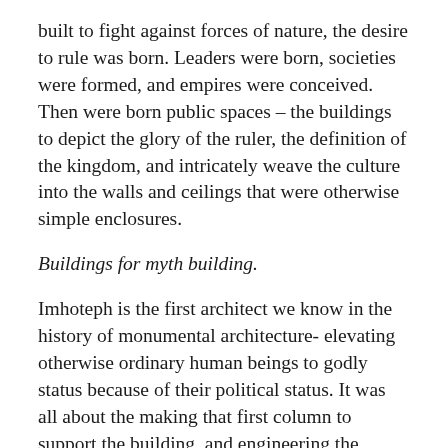built to fight against forces of nature, the desire to rule was born. Leaders were born, societies were formed, and empires were conceived. Then were born public spaces – the buildings to depict the glory of the ruler, the definition of the kingdom, and intricately weave the culture into the walls and ceilings that were otherwise simple enclosures.
Buildings for myth building.
Imhoteph is the first architect we know in the history of monumental architecture- elevating otherwise ordinary human beings to godly status because of their political status. It was all about the making that first column to support the building, and engineering the masonry to its finest detailing for Imhoteph, but the truth is, he was commissioned by the ruler to leave a lasting monument of his grandeur, his ideals and his principles, and his